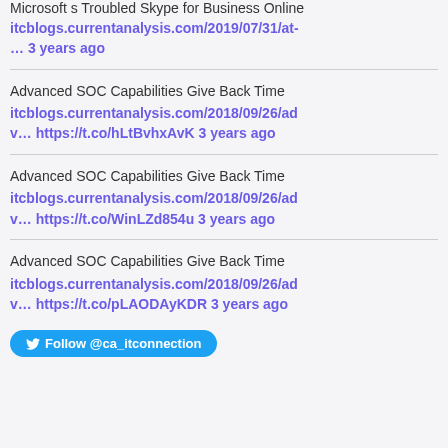Microsoft s Troubled Skype for Business Online itcblogs.currentanalysis.com/2019/07/31/at-… 3 years ago
Advanced SOC Capabilities Give Back Time itcblogs.currentanalysis.com/2018/09/26/adv… https://t.co/hLtBvhxAvK 3 years ago
Advanced SOC Capabilities Give Back Time itcblogs.currentanalysis.com/2018/09/26/adv… https://t.co/WinLZd854u 3 years ago
Advanced SOC Capabilities Give Back Time itcblogs.currentanalysis.com/2018/09/26/adv… https://t.co/pLAODAyKDR 3 years ago
Follow @ca_itconnection